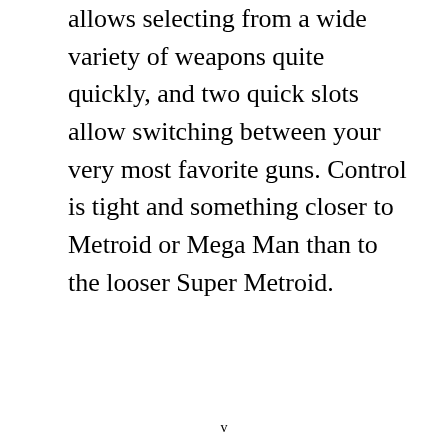allows selecting from a wide variety of weapons quite quickly, and two quick slots allow switching between your very most favorite guns. Control is tight and something closer to Metroid or Mega Man than to the looser Super Metroid.
v